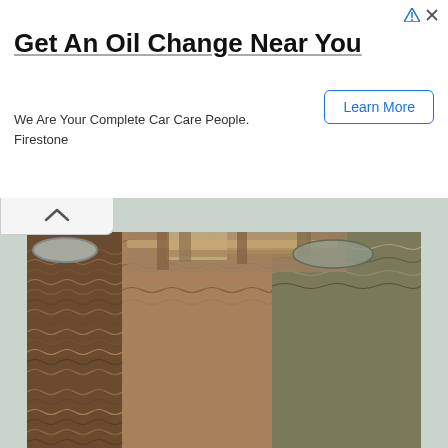[Figure (screenshot): Advertisement banner: 'Get An Oil Change Near You' - Firestone ad with 'Learn More' button]
[Figure (photo): Distorted zigzag/wavy pattern photo of percussion instruments or decorative vessels with a ripple/distortion effect applied, showing brown, orange, green and beige wavy stripes]
We can use distortion effects on our percussions to make them more personal. However, using a distortion effect on a percussion can be hard since the resulted